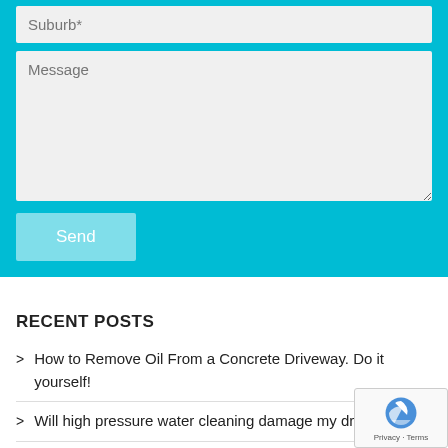Suburb*
Message
Send
RECENT POSTS
How to Remove Oil From a Concrete Driveway. Do it yourself!
Will high pressure water cleaning damage my driveway?
Pressure Cleaners vs Surface Cleaners: What's